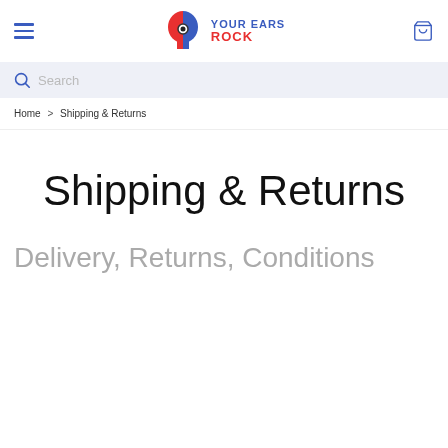Your Ears Rock
Search
Home > Shipping & Returns
Shipping & Returns
Delivery, Returns, Conditions